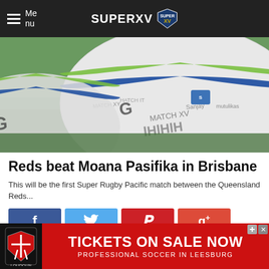Menu | SUPERXV
[Figure (photo): Close-up photo of rugby balls on green grass showing white balls with green and blue stripe markings]
Reds beat Moana Pasifika in Brisbane
This will be the first Super Rugby Pacific match between the Queensland Reds...
[Figure (infographic): Social sharing buttons: Facebook (blue), Twitter (light blue), Pinterest (red), Google+ (orange-red)]
[Figure (infographic): Advertisement banner: Loudoun Soccer - TICKETS ON SALE NOW - PROFESSIONAL SOCCER IN LEESBURG]